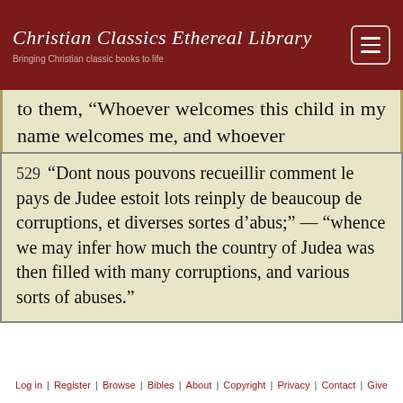Christian Classics Ethereal Library
Bringing Christian classic books to life
to them, “Whoever welcomes this child in my name welcomes me, and whoever
529   “Dont nous pouvons recueillir comment le pays de Judee estoit lots reinply de beaucoup de corruptions, et diverses sortes d’abus;” — “whence we may infer how much the country of Judea was then filled with many corruptions, and various sorts of abuses.”
Log in | Register | Browse | Bibles | About | Copyright | Privacy | Contact | Give